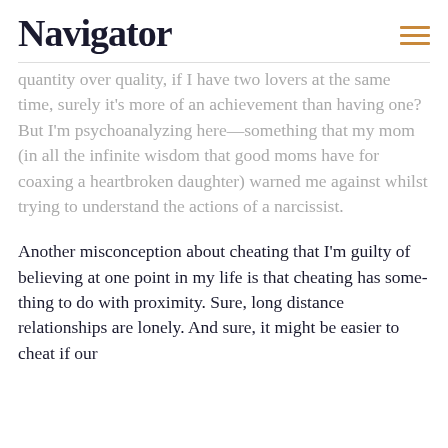Navigator
quantity over quality, if I have two lovers at the same time, surely it's more of an achievement than having one? But I'm psychoanalyzing here—something that my mom (in all the infinite wisdom that good moms have for coaxing a heartbroken daughter) warned me against whilst trying to understand the actions of a narcissist.
Another misconception about cheating that I'm guilty of believing at one point in my life is that cheating has some- thing to do with proximity. Sure, long distance relationships are lonely. And sure, it might be easier to cheat if our…